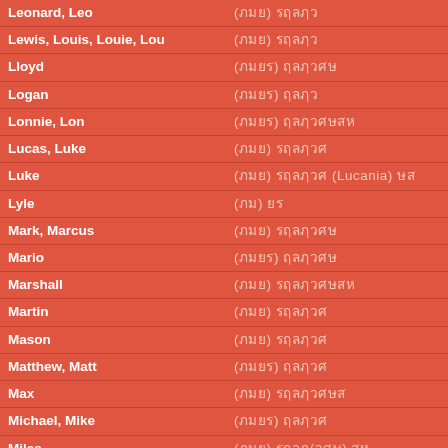| Name | Meaning |
| --- | --- |
| Leonard, Leo | (ᗷᗷᗷ) ᗷᗷᗷᗷᗷ |
| Lewis, Louis, Louie, Lou | (ᗷᗷᗷ) ᗷᗷᗷᗷᗷ |
| Lloyd | (ᗷᗷᗷᗷ) ᗷᗷᗷᗷᗷᗷ |
| Logan | (ᗷᗷᗷᗷ) ᗷᗷᗷᗷ |
| Lonnie, Lon | (ᗷᗷᗷᗷ) ᗷᗷᗷᗷᗷᗷᗷᗷ |
| Lucas, Luke | (ᗷᗷᗷ) ᗷᗷᗷᗷᗷᗷ |
| Luke | (ᗷᗷᗷ) ᗷᗷᗷᗷᗷᗷ (Lucania) ᗷᗷ |
| Lyle | (ᗷᗷ) ᗷᗷ |
| Mark, Marcus | (ᗷᗷᗷ) ᗷᗷᗷᗷᗷᗷᗷ |
| Mario | (ᗷᗷᗷᗷ) ᗷᗷᗷᗷᗷᗷ |
| Marshall | (ᗷᗷᗷ) ᗷᗷᗷᗷᗷᗷᗷᗷᗷ |
| Martin | (ᗷᗷᗷ) ᗷᗷᗷᗷᗷᗷ |
| Mason | (ᗷᗷᗷ) ᗷᗷᗷᗷᗷᗷ |
| Matthew, Matt | (ᗷᗷᗷᗷ) ᗷᗷᗷᗷᗷ |
| Max | (ᗷᗷᗷ) ᗷᗷᗷᗷᗷᗷᗷᗷ |
| Michael, Mike | (ᗷᗷᗷᗷ) ᗷᗷᗷᗷᗷ |
| Miles | (ᗷᗷᗷ) ᗷᗷᗷᗷ(ᗷᗷᗷ) ᗷᗷ |
| Morgan | (ᗷᗷᗷᗷ) ᗷᗷᗷᗷᗷ |
| Nathan, Nate, Nat | (ᗷᗷᗷᗷ) ᗷᗷᗷᗷᗷ |
| Nathaniel | (ᗷᗷᗷᗷ) ᗷᗷᗷᗷᗷ |
| Neal, Neil | (ᗷᗷᗷᗷ) ᗷᗷ |